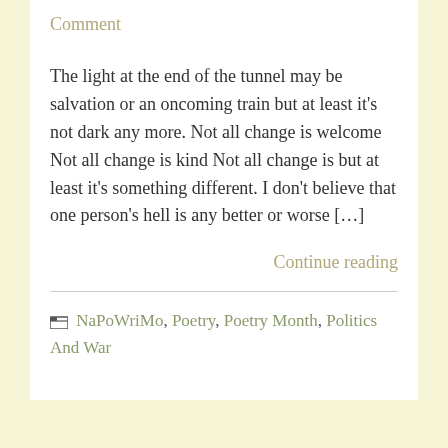Comment
The light at the end of the tunnel may be salvation or an oncoming train but at least it’s not dark any more. Not all change is welcome Not all change is kind Not all change is but at least it’s something different. I don’t believe that one person’s hell is any better or worse […]
Continue reading
NaPoWriMo, Poetry, Poetry Month, Politics And War